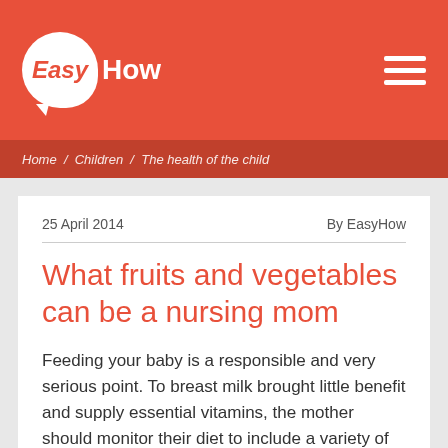EasyHow
Home / Children / The health of the child
25 April 2014    By EasyHow
What fruits and vegetables can be a nursing mom
Feeding your baby is a responsible and very serious point. To breast milk brought little benefit and supply essential vitamins, the mother should monitor their diet to include a variety of fruits and vegetables.